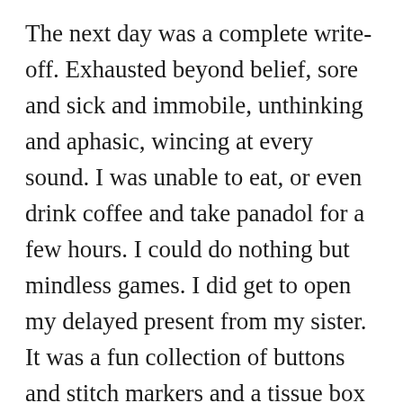The next day was a complete write-off. Exhausted beyond belief, sore and sick and immobile, unthinking and aphasic, wincing at every sound. I was unable to eat, or even drink coffee and take panadol for a few hours. I could do nothing but mindless games. I did get to open my delayed present from my sister. It was a fun collection of buttons and stitch markers and a tissue box (that I wanted to contain yarn for colourwork) plus a nice pen and whisky glass. I managed to post a pic on FB to show her it had arrived, but I had no ability to form words. By evening I was just